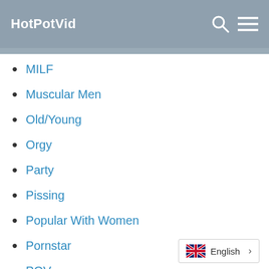HotPotVid
MILF
Muscular Men
Old/Young
Orgy
Party
Pissing
Popular With Women
Pornstar
POV
Public
English